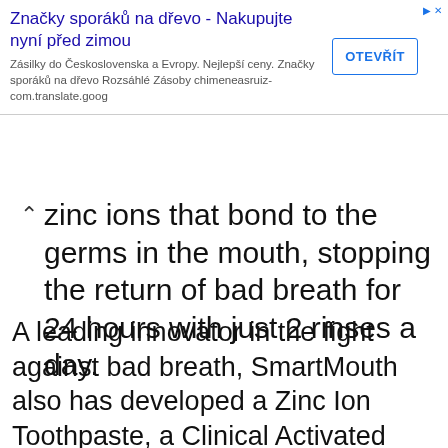[Figure (screenshot): Advertisement banner in Czech: 'Značky sporáků na dřevo - Nakupujte nyní před zimou' with a button 'OTEVŘÍT' and description text about chimeneasruiz-com.translate.goog]
zinc ions that bond to the germs in the mouth, stopping the return of bad breath for 24 hours with just 2 rinses a day.
A leading innovator in the fight against bad breath, SmartMouth also has developed a Zinc Ion Toothpaste, a Clinical Activated Oral Rinse combining zinc ion technology with anti-plaque and anti-gingivitis benefits to help prevent bleeding gums for optimal oral health, as well as mints and mouthwash designed to temporarily relieve dry mouth while also preventing bad breath. Additional products and lines are currently in